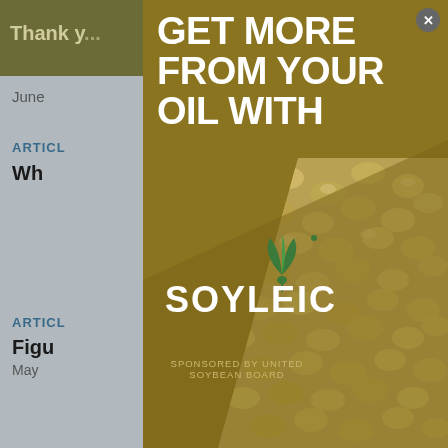[Figure (screenshot): Background webpage with gray content area showing partial article listings and a top navigation bar with dark olive/tan background.]
[Figure (infographic): Modal advertisement overlay with dark golden/olive background. Large white bold text reads 'GET MORE FROM YOUR OIL WITH'. Below is the Soyleic logo (green plant icon above stylized 'SOYLEIC' text). Bottom left reads 'SPONSORED BY UNITED SOYBEAN BOARD'. Right portion shows a close-up photo of soybeans. A close button (X) appears at top right of modal.]
Thank you  ...  ools you
June
ARTICL
Wh
ARTICL
Figu
May
GET MORE FROM YOUR OIL WITH
SOYLEIC
SPONSORED BY UNITED SOYBEAN BOARD